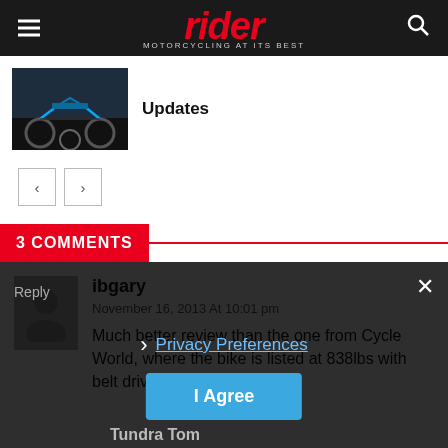rider — MOTORCYCLING AT ITS BEST
[Figure (photo): Thumbnail of a motorcycle (3-wheeler) in blue/black color scheme on a dark background]
Updates
< >
3 COMMENTS
ibgary
November 16, 2013 At 10:01 pm
Much better review than the one from Cycle World, where the bike is listed at 838lbs with belt drive.
Reply
Privacy Preferences
I Agree
Tundra Tom